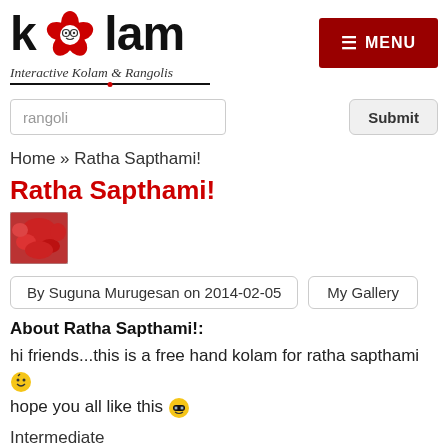[Figure (logo): Kolam website logo with flower icon and text 'kolam' with subtitle 'Interactive Kolam & Rangolis']
[Figure (other): Red hamburger menu button labeled MENU]
rangoli
Submit
Home » Ratha Sapthami!
Ratha Sapthami!
[Figure (photo): Small thumbnail photo of red flowers]
By Suguna Murugesan on 2014-02-05
My Gallery
About Ratha Sapthami!:
hi friends...this is a free hand kolam for ratha sapthami 😊 hope you all like this 😎
Intermediate